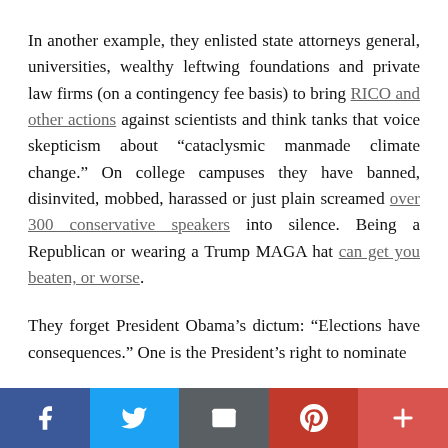In another example, they enlisted state attorneys general, universities, wealthy leftwing foundations and private law firms (on a contingency fee basis) to bring RICO and other actions against scientists and think tanks that voice skepticism about “cataclysmic manmade climate change.” On college campuses they have banned, disinvited, mobbed, harassed or just plain screamed over 300 conservative speakers into silence. Being a Republican or wearing a Trump MAGA hat can get you beaten, or worse.

They forget President Obama’s dictum: “Elections have consequences.” One is the President’s right to nominate
Social share bar: Facebook, Twitter, Email, Pinterest, Plus